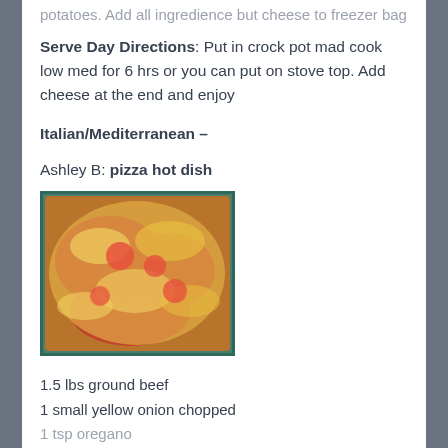potatoes. Add all ingredience but cheese to freezer bag
Serve Day Directions: Put in crock pot mad cook low med for 6 hrs or you can put on stove top. Add cheese at the end and enjoy
Italian/Mediterranean –
Ashley B: pizza hot dish
[Figure (photo): Photo of a pizza hot dish casserole with melted cheese and tomato sauce in a baking dish]
1.5 lbs ground beef
1 small yellow onion chopped
1 tsp oregano